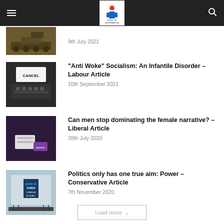Point of Information – navigation bar
9th July 2021
"Anti Woke" Socialism: An Infantile Disorder – Labour Article
10th September 2021
Can men stop dominating the female narrative? – Liberal Article
28th July 2020
Politics only has one true aim: Power – Conservative Article
7th November 2020
Load more